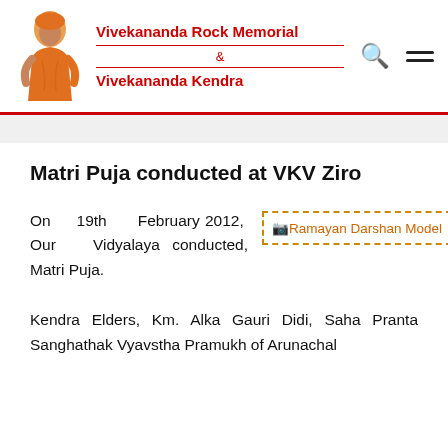Vivekananda Rock Memorial & Vivekananda Kendra
Matri Puja conducted at VKV Ziro
On 19th February 2012, Our Vidyalaya conducted, Matri Puja.
[Figure (illustration): Broken image placeholder labeled 'Ramayan Darshan Model']
Kendra Elders, Km. Alka Gauri Didi, Saha Pranta Sanghathak Vyavstha Pramukh of Arunachal